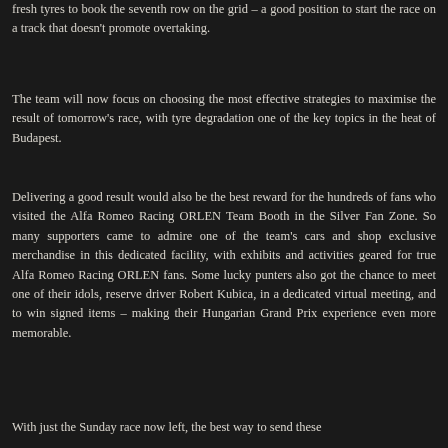fresh tyres to book the seventh row on the grid – a good position to start the race on a track that doesn't promote overtaking.
The team will now focus on choosing the most effective strategies to maximise the result of tomorrow's race, with tyre degradation one of the key topics in the heat of Budapest.
Delivering a good result would also be the best reward for the hundreds of fans who visited the Alfa Romeo Racing ORLEN Team Booth in the Silver Fan Zone. So many supporters came to admire one of the team's cars and shop exclusive merchandise in this dedicated facility, with exhibits and activities geared for true Alfa Romeo Racing ORLEN fans. Some lucky punters also got the chance to meet one of their idols, reserve driver Robert Kubica, in a dedicated virtual meeting, and to win signed items – making their Hungarian Grand Prix experience even more memorable.
With just the Sunday race now left, the best way to send these